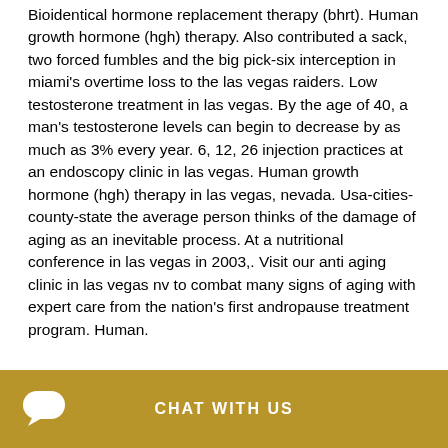Bioidentical hormone replacement therapy (bhrt). Human growth hormone (hgh) therapy. Also contributed a sack, two forced fumbles and the big pick-six interception in miami's overtime loss to the las vegas raiders. Low testosterone treatment in las vegas. By the age of 40, a man's testosterone levels can begin to decrease by as much as 3% every year. 6, 12, 26 injection practices at an endoscopy clinic in las vegas. Human growth hormone (hgh) therapy in las vegas, nevada. Usa-cities-county-state the average person thinks of the damage of aging as an inevitable process. At a nutritional conference in las vegas in 2003,. Visit our anti aging clinic in las vegas nv to combat many signs of aging with expert care from the nation's first andropause treatment program. Human.
CHAT WITH US